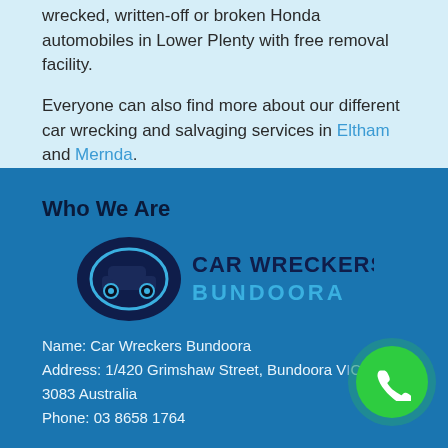wrecked, written-off or broken Honda automobiles in Lower Plenty with free removal facility.
Everyone can also find more about our different car wrecking and salvaging services in Eltham and Mernda.
Who We Are
[Figure (logo): Car Wreckers Bundoora logo with dark blue oval car icon and text 'CAR WRECKERS BUNDOORA']
Name: Car Wreckers Bundoora
Address: 1/420 Grimshaw Street, Bundoora VIC 3083 Australia
Phone: 03 8658 1764